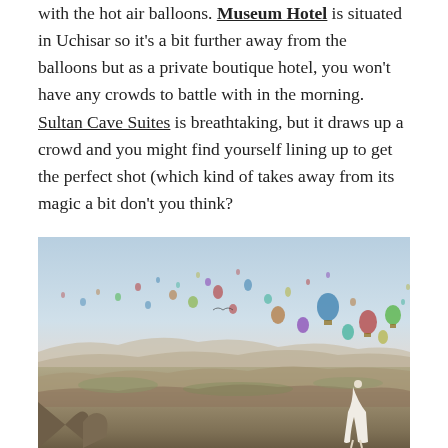with the hot air balloons. Museum Hotel is situated in Uchisar so it's a bit further away from the balloons but as a private boutique hotel, you won't have any crowds to battle with in the morning. Sultan Cave Suites is breathtaking, but it draws up a crowd and you might find yourself lining up to get the perfect shot (which kind of takes away from its magic a bit don't you think?
[Figure (photo): Aerial landscape photo of Cappadocia, Turkey, showing dozens of colorful hot air balloons floating over rocky terrain and valleys at dawn/sunrise, with a woman in a white dress standing on the right foreground overlooking the scene.]